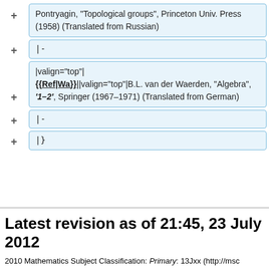+ Pontryagin, "Topological groups", Princeton Univ. Press (1958) (Translated from Russian)
+ |-
+ |valign="top"|
{{Ref|Wa}}||valign="top"|B.L. van der Waerden, "Algebra", '''1–2''', Springer (1967–1971) (Translated from German)
+ |-
+ |}
Latest revision as of 21:45, 23 July 2012
2010 Mathematics Subject Classification: Primary: 13Jxx (http://msc